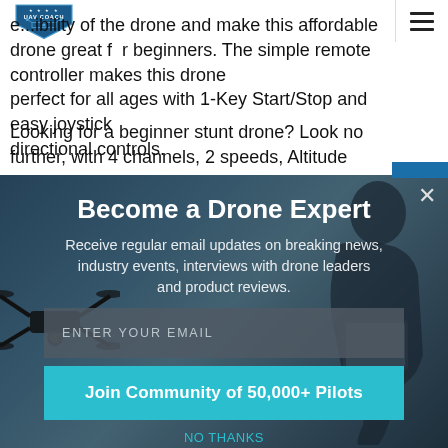UAV Coach
...ibility of the drone and make this affordable drone great for beginners. The simple remote controller makes this drone perfect for all ages with 1-Key Start/Stop and easy joystick directional controls.
Looking for a beginner stunt drone? Look no further, with 4 channels, 2 speeds, Altitude Hold, and Headless Mode; this
Become a Drone Expert
Receive regular email updates on breaking news, industry events, interviews with drone leaders and product reviews.
ENTER YOUR EMAIL
Join Community of 50,000+ Pilots
NO THANKS